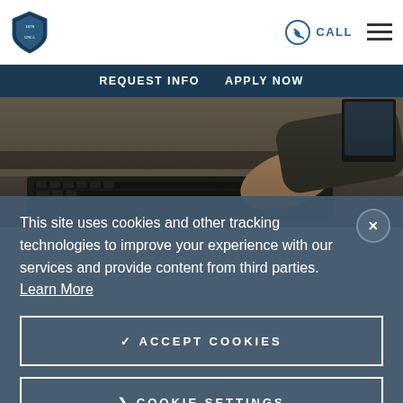University logo, CALL button, hamburger menu
REQUEST INFO   APPLY NOW
[Figure (photo): Person typing on a keyboard at a desk, viewed from above/side angle showing hands on keyboard]
This site uses cookies and other tracking technologies to improve your experience with our services and provide content from third parties. Learn More
✓ ACCEPT COOKIES
❯ COOKIE SETTINGS